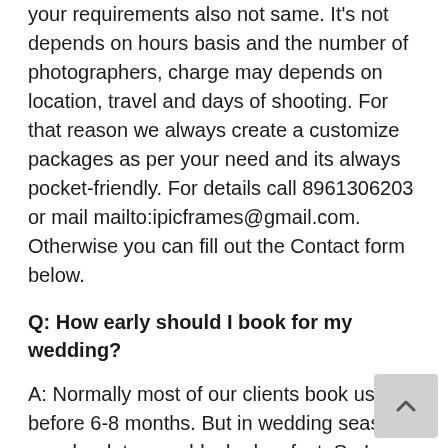your requirements also not same. It's not depends on hours basis and the number of photographers, charge may depends on location, travel and days of shooting. For that reason we always create a customize packages as per your need and its always pocket-friendly. For details call 8961306203 or mail mailto:ipicframes@gmail.com. Otherwise you can fill out the Contact form below.
Q: How early should I book for my wedding?
A: Normally most of our clients book us before 6-8 months. But in wedding season popular dates are blocked so fast. So I suggest you, once you finalize your wedding date please get in touch as early as possible.